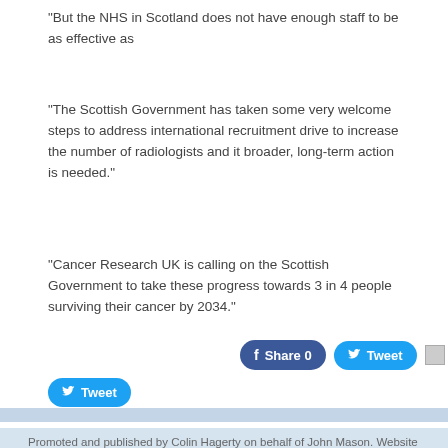“But the NHS in Scotland does not have enough staff to be as effective as…
“The Scottish Government has taken some very welcome steps to address… international recruitment drive to increase the number of radiologists and it… broader, long-term action is needed.”
“Cancer Research UK is calling on the Scottish Government to take these… progress towards 3 in 4 people surviving their cancer by 2034.”
[Figure (other): Social sharing buttons: Facebook Share 0, Twitter Tweet, Share link with image placeholder, and a standalone Twitter Tweet button]
Promoted and published by Colin Hagerty on behalf of John Mason. Website designed an…